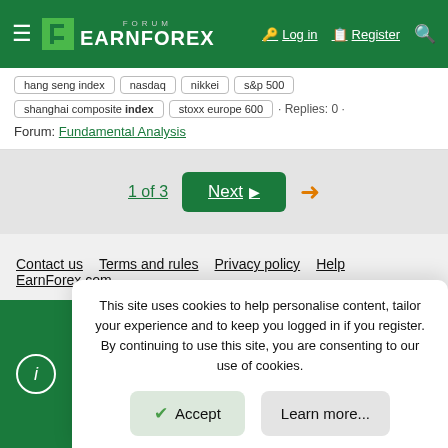FORUM EARNFOREX — Log in | Register
hang seng index | nasdaq | nikkei | s&p 500 | shanghai composite index | stoxx europe 600 · Replies: 0 · Forum: Fundamental Analysis
1 of 3  Next →
Contact us  Terms and rules  Privacy policy  Help  EarnForex.com
This site uses cookies to help personalise content, tailor your experience and to keep you logged in if you register. By continuing to use this site, you are consenting to our use of cookies.